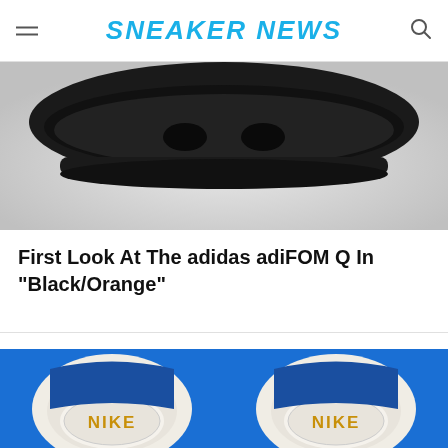SNEAKER NEWS
[Figure (photo): Top-down view of a black sneaker sole/bottom, adidas adiFOM Q in Black/Orange colorway, shown against a grey gradient background]
First Look At The adidas adiFOM Q In “Black/Orange”
[Figure (photo): Two Nike sneakers shown from above on a blue background, displaying the white tongue with gold NIKE text embossing, blue accents, and visible red swoosh details at bottom]